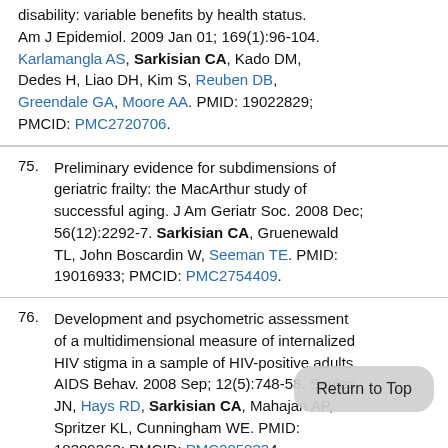disability: variable benefits by health status. Am J Epidemiol. 2009 Jan 01; 169(1):96-104. Karlamangla AS, Sarkisian CA, Kado DM, Dedes H, Liao DH, Kim S, Reuben DB, Greendale GA, Moore AA. PMID: 19022829; PMCID: PMC2720706.
75. Preliminary evidence for subdimensions of geriatric frailty: the MacArthur study of successful aging. J Am Geriatr Soc. 2008 Dec; 56(12):2292-7. Sarkisian CA, Gruenewald TL, John Boscardin W, Seeman TE. PMID: 19016933; PMCID: PMC2754409.
76. Development and psychometric assessment of a multidimensional measure of internalized HIV stigma in a sample of HIV-positive adults. AIDS Behav. 2008 Sep; 12(5):748-58. Sayles JN, Hays RD, Sarkisian CA, Mahajan AP, Spritzer KL, Cunningham WE. PMID: 18389363; PMCID: PMC2858334.